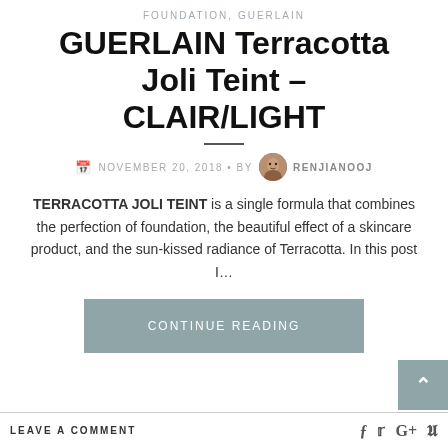FOUNDATION, GUERLAIN
GUERLAIN Terracotta Joli Teint – CLAIR/LIGHT
NOVEMBER 20, 2018 • BY RENJIANOOJ
TERRACOTTA JOLI TEINT is a single formula that combines the perfection of foundation, the beautiful effect of a skincare product, and the sun-kissed radiance of Terracotta. In this post I…
CONTINUE READING
LEAVE A COMMENT